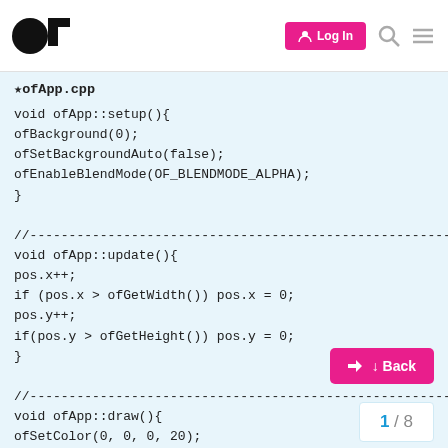[Figure (screenshot): openFrameworks forum website navigation bar with logo, Log In button, search icon, and menu icon]
★ofApp.cpp
void ofApp::setup(){
ofBackground(0);
ofSetBackgroundAuto(false);
ofEnableBlendMode(OF_BLENDMODE_ALPHA);
}

//--------------------------------------------------------------
void ofApp::update(){
pos.x++;
if (pos.x > ofGetWidth()) pos.x = 0;
pos.y++;
if(pos.y > ofGetHeight()) pos.y = 0;
}

//--------------------------------------------------------------
void ofApp::draw(){
ofSetColor(0, 0, 0, 20);
ofRect(0, 0, ofGetWidth(), ofGetHeight());
1 / 8